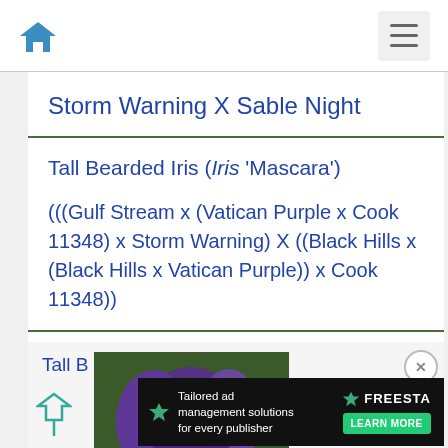Navigation bar with home icon and hamburger menu
Storm Warning X Sable Night
Tall Bearded Iris (Iris 'Mascara')

(((Gulf Stream x (Vatican Purple x Cook 11348) x Storm Warning) X ((Black Hills x (Black Hills x Vatican Purple)) x Cook 11348))
[Figure (photo): Photo of a tall bearded purple iris flower]
Tall B...
Tailored ad management solutions for every publisher  FREESTA  LEARN MORE